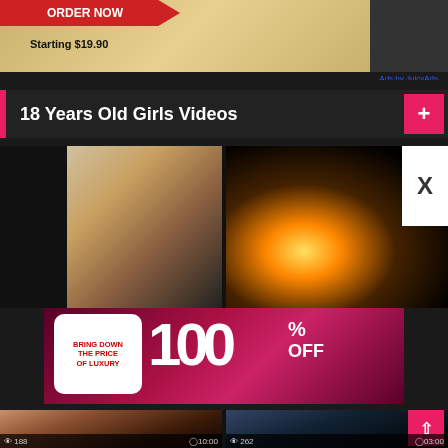[Figure (screenshot): Adult website screenshot showing advertisement banner at top with 'ORDER NOW Starting $19.90' text, section header '18 Years Old Girls Videos' with pink plus button, video thumbnails, popup advertisement 'BRING DOWN THE PRICE OF LUXURY 100% OFF', and more video thumbnails with view counts and durations at bottom]
ORDER NOW
Starting $19.90
Ads by JuicyAds
18 Years Old Girls Videos
BRING DOWN THE PRICE OF LUXURY
100% OFF
188
10:00
262
03:00